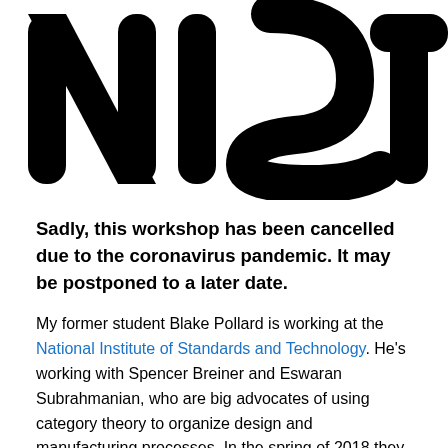[Figure (logo): NIST logo — large black bold letters spelling NIST with rounded strokes]
Sadly, this workshop has been cancelled due to the coronavirus pandemic. It may be postponed to a later date.
My former student Blake Pollard is working at the National Institute of Standards and Technology. He's working with Spencer Breiner and Eswaran Subrahmanian, who are big advocates of using category theory to organize design and manufacturing processes. In the spring of 2018 they had a workshop on applied category theory with a lot of honchos from industry and government in attendance—you can see videos by clicking the link.